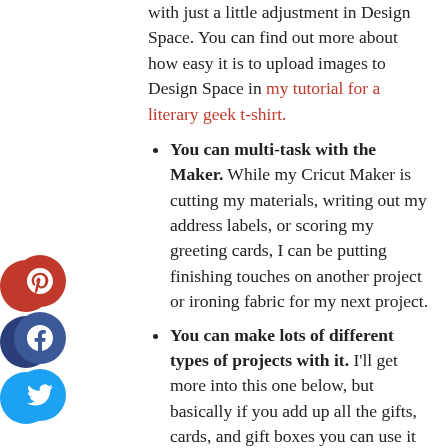with just a little adjustment in Design Space. You can find out more about how easy it is to upload images to Design Space in my tutorial for a literary geek t-shirt.
You can multi-task with the Maker. While my Cricut Maker is cutting my materials, writing out my address labels, or scoring my greeting cards, I can be putting finishing touches on another project or ironing fabric for my next project.
You can make lots of different types of projects with it. I'll get more into this one below, but basically if you add up all the gifts, cards, and gift boxes you can use it to make, you'll probably break even on your costs within the year (or sooner, if you have a large handmade gift list).
Finally, if pricing is a bit steep...